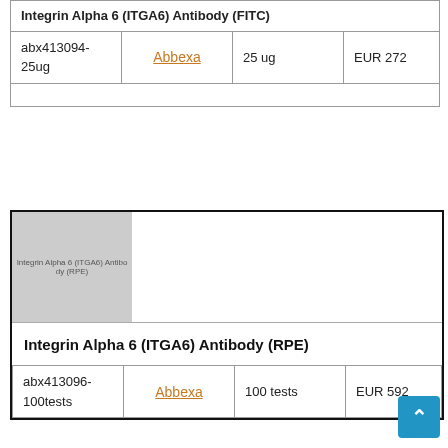| Product | Supplier | Quantity | Price |
| --- | --- | --- | --- |
| Integrin Alpha 6 (ITGA6) Antibody (FITC) |  |  |  |
| abx413094-25ug | Abbexa | 25 ug | EUR 272 |
|  |  |  |  |
[Figure (other): Thumbnail image placeholder for Integrin Alpha 6 (ITGA6) Antibody (RPE) product]
| Product | Supplier | Quantity | Price |
| --- | --- | --- | --- |
| Integrin Alpha 6 (ITGA6) Antibody (RPE) |  |  |  |
| abx413096-100tests | Abbexa | 100 tests | EUR 592 |